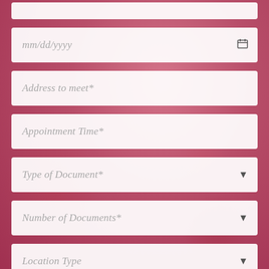mm/dd/yyyy
Address to meet*
Appointment Time*
Type of Document*
Number of Documents*
Location Type
Your message